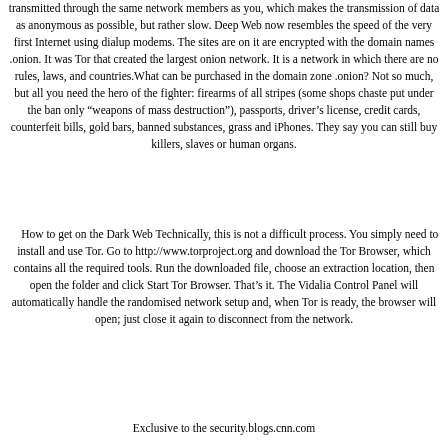transmitted through the same network members as you, which makes the transmission of data as anonymous as possible, but rather slow. Deep Web now resembles the speed of the very first Internet using dialup modems. The sites are on it are encrypted with the domain names .onion. It was Tor that created the largest onion network. It is a network in which there are no rules, laws, and countries.What can be purchased in the domain zone .onion? Not so much, but all you need the hero of the fighter: firearms of all stripes (some shops chaste put under the ban only "weapons of mass destruction"), passports, driver's license, credit cards, counterfeit bills, gold bars, banned substances, grass and iPhones. They say you can still buy killers, slaves or human organs.
How to get on the Dark Web Technically, this is not a difficult process. You simply need to install and use Tor. Go to http://www.torproject.org and download the Tor Browser, which contains all the required tools. Run the downloaded file, choose an extraction location, then open the folder and click Start Tor Browser. That's it. The Vidalia Control Panel will automatically handle the randomised network setup and, when Tor is ready, the browser will open; just close it again to disconnect from the network.
Exclusive to the security.blogs.cnn.com